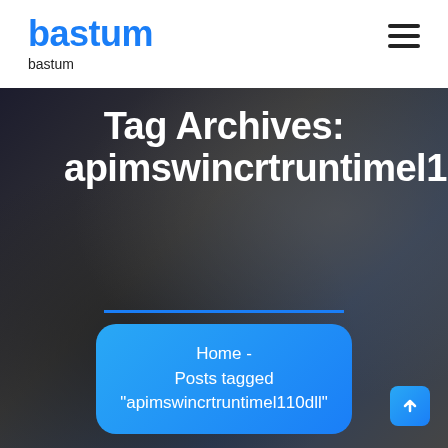bastum
bastum
Tag Archives: apimswincrtruntimel110dll
Home - Posts tagged "apimswincrtruntimel110dll"